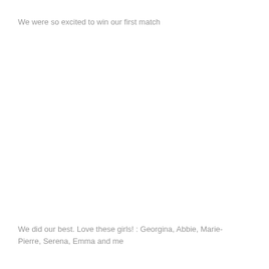We were so excited to win our first match
We did our best. Love these girls! : Georgina, Abbie, Marie-Pierre, Serena, Emma and me